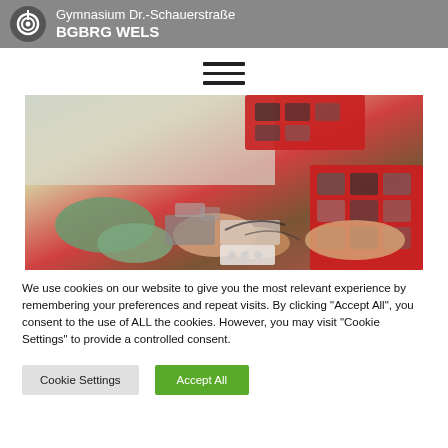Gymnasium Dr.-Schauerstraße BGBRG WELS
[Figure (other): Hamburger menu icon (three horizontal lines)]
[Figure (photo): Students assembling a LEGO robotics kit at a table with red component trays and electronic parts]
We use cookies on our website to give you the most relevant experience by remembering your preferences and repeat visits. By clicking "Accept All", you consent to the use of ALL the cookies. However, you may visit "Cookie Settings" to provide a controlled consent.
Cookie Settings | Accept All